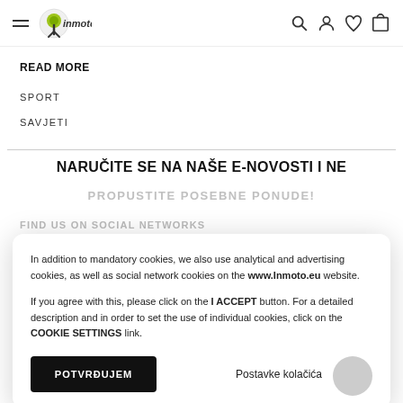inmoto logo navigation header with hamburger menu, search, account, wishlist, cart icons
READ MORE
SPORT
SAVJETI
NARUČITE SE NA NAŠE E-NOVOSTI I NE PROPUSTITE POSEBNE PONUDE!
FIND US ON SOCIAL NETWORKS
In addition to mandatory cookies, we also use analytical and advertising cookies, as well as social network cookies on the www.Inmoto.eu website.

If you agree with this, please click on the I ACCEPT button. For a detailed description and in order to set the use of individual cookies, click on the COOKIE SETTINGS link.
POTVRĐUJEM
Postavke kolačića